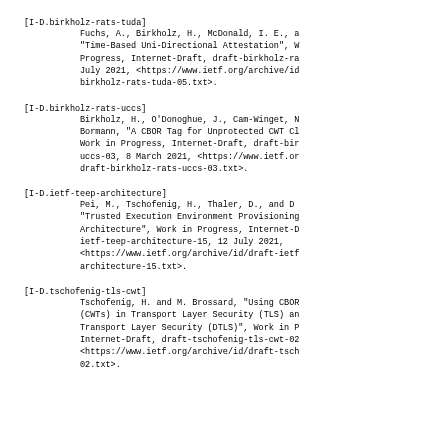[I-D.birkholz-rats-tuda]
        Fuchs, A., Birkholz, H., McDonald, I. E., a
        "Time-Based Uni-Directional Attestation", W
        Progress, Internet-Draft, draft-birkholz-ra
        July 2021, <https://www.ietf.org/archive/id
        birkholz-rats-tuda-05.txt>.
[I-D.birkholz-rats-uccs]
        Birkholz, H., O'Donoghue, J., Cam-Winget, N
        Bormann, "A CBOR Tag for Unprotected CWT Cl
        Work in Progress, Internet-Draft, draft-bir
        uccs-03, 8 March 2021, <https://www.ietf.or
        draft-birkholz-rats-uccs-03.txt>.
[I-D.ietf-teep-architecture]
        Pei, M., Tschofenig, H., Thaler, D., and D
        "Trusted Execution Environment Provisioning
        Architecture", Work in Progress, Internet-D
        ietf-teep-architecture-15, 12 July 2021,
        <https://www.ietf.org/archive/id/draft-ietf
        architecture-15.txt>.
[I-D.tschofenig-tls-cwt]
        Tschofenig, H. and M. Brossard, "Using CBOR
        (CWTs) in Transport Layer Security (TLS) an
        Transport Layer Security (DTLS)", Work in P
        Internet-Draft, draft-tschofenig-tls-cwt-02
        <https://www.ietf.org/archive/id/draft-tsch
        02.txt>.